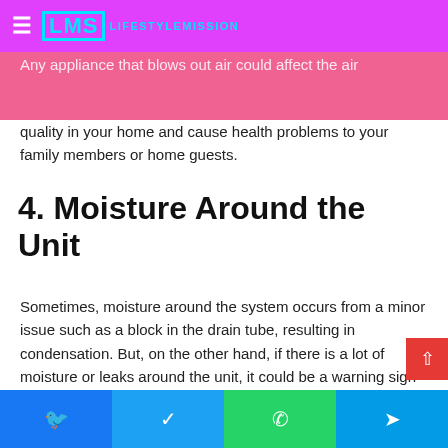LMS LIFESTYLEMISSION
already, you might have burnt, and you need to replace it. Any appliance that blows out air could affect the air quality in your home and cause health problems to your family members or home guests.
4. Moisture Around the Unit
Sometimes, moisture around the system occurs from a minor issue such as a block in the drain tube, resulting in condensation. But, on the other hand, if there is a lot of moisture or leaks around the unit, it could be a warning sign for a bigger problem. So, you should address any water that you detect immediately to avoid can further damage or costs of replacing the system.
[Figure (photo): Partial view of an AC unit or related HVAC equipment, grayscale photo strip]
Facebook | Twitter | WhatsApp | Telegram social share buttons